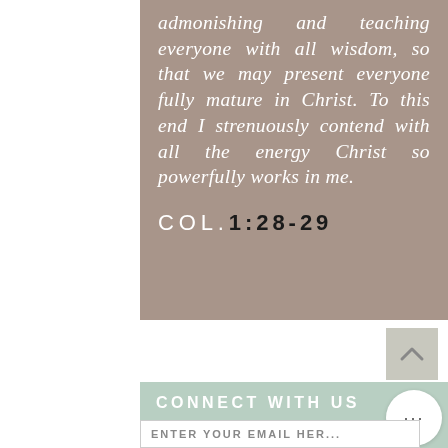[Figure (illustration): Tan/taupe colored card with Bible verse text in white italic and citation COL. 1:28-29 with letters in white and numbers in black]
admonishing and teaching everyone with all wisdom, so that we may present everyone fully mature in Christ. To this end I strenuously contend with all the energy Christ so powerfully works in me.
COL. 1:28-29
CONNECT WITH US
ENTER YOUR EMAIL HER...